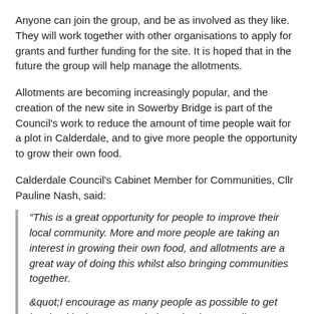Anyone can join the group, and be as involved as they like. They will work together with other organisations to apply for grants and further funding for the site. It is hoped that in the future the group will help manage the allotments.
Allotments are becoming increasingly popular, and the creation of the new site in Sowerby Bridge is part of the Council's work to reduce the amount of time people wait for a plot in Calderdale, and to give more people the opportunity to grow their own food.
Calderdale Council's Cabinet Member for Communities, Cllr Pauline Nash, said:
“This is a great opportunity for people to improve their local community. More and more people are taking an interest in growing their own food, and allotments are a great way of doing this whilst also bringing communities together.
&quot;I encourage as many people as possible to get involved in the group, to help make the new allotment plans a reality.”
The Council currently owns 36 allotment sites and over 700 plots across Calderdale. The new site is part of the playing fields adjacent